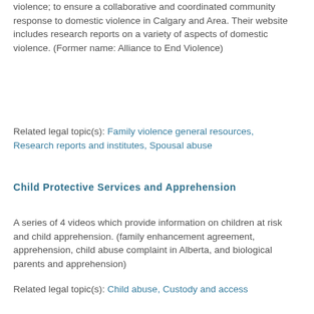violence; to ensure a collaborative and coordinated community response to domestic violence in Calgary and Area. Their website includes research reports on a variety of aspects of domestic violence. (Former name: Alliance to End Violence)
Related legal topic(s): Family violence general resources, Research reports and institutes, Spousal abuse
Child Protective Services and Apprehension
A series of 4 videos which provide information on children at risk and child apprehension. (family enhancement agreement, apprehension, child abuse complaint in Alberta, and biological parents and apprehension)
Related legal topic(s): Child abuse, Custody and access